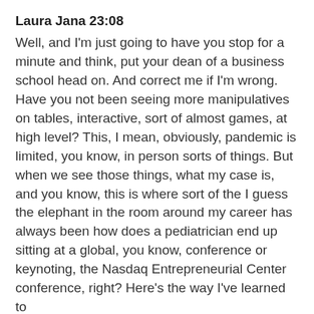Laura Jana 23:08
Well, and I'm just going to have you stop for a minute and think, put your dean of a business school head on. And correct me if I'm wrong. Have you not been seeing more manipulatives on tables, interactive, sort of almost games, at high level? This, I mean, obviously, pandemic is limited, you know, in person sorts of things. But when we see those things, what my case is, and you know, this is where sort of the I guess the elephant in the room around my career has always been how does a pediatrician end up sitting at a global, you know, conference or keynoting, the Nasdaq Entrepreneurial Center conference, right? Here's the way I've learned to